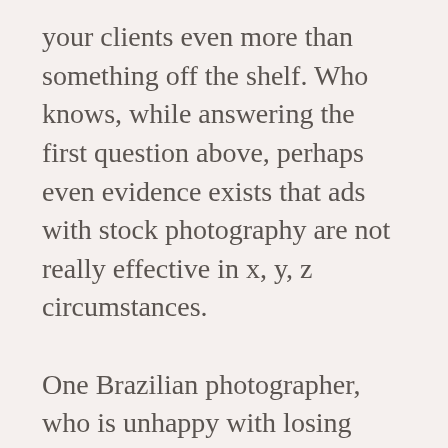your clients even more than something off the shelf. Who knows, while answering the first question above, perhaps even evidence exists that ads with stock photography are not really effective in x, y, z circumstances.

One Brazilian photographer, who is unhappy with losing work to stock photography, travelled to Denmark to meet one of the models featured in many stock photos. This encounter brings a face to the anonymous
Privacy & Cookies: This site uses cookies. By continuing to use this website, you agree to their use.
To find out more, including how to control cookies, see here: Cookie Policy
Close and accept